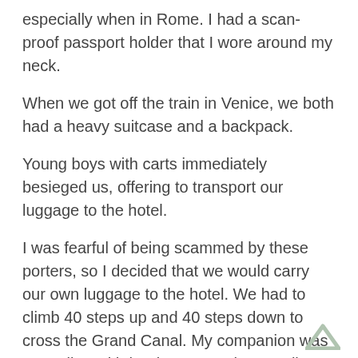especially when in Rome. I had a scan-proof passport holder that I wore around my neck.
When we got off the train in Venice, we both had a heavy suitcase and a backpack.
Young boys with carts immediately besieged us, offering to transport our luggage to the hotel.
I was fearful of being scammed by these porters, so I decided that we would carry our own luggage to the hotel. We had to climb 40 steps up and 40 steps down to cross the Grand Canal. My companion was struggling with her luggage, when a tall, muscular stranger from England took pity on my companion and said, “I’ll help you with that.”
He picked up her heavy luggage and walked up a